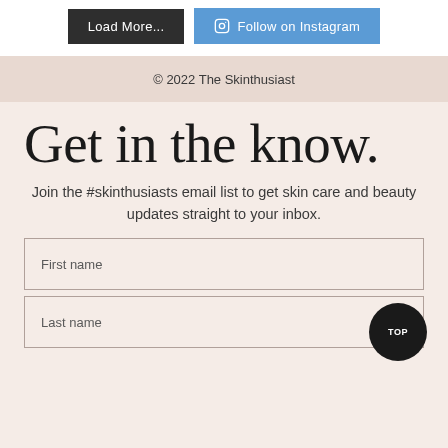[Figure (screenshot): Two buttons: 'Load More...' (dark background) and 'Follow on Instagram' (blue background with Instagram icon)]
© 2022 The Skinthusiast
Get in the know.
Join the #skinthusiasts email list to get skin care and beauty updates straight to your inbox.
First name
Last name